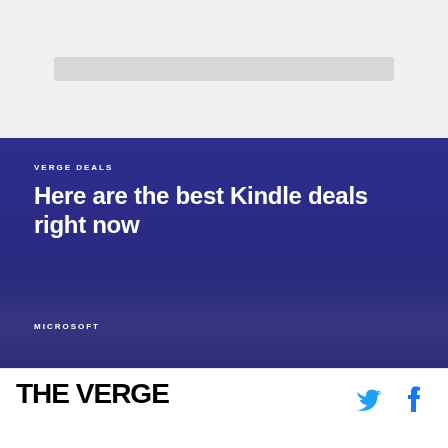[Figure (photo): Top image area, partially visible, appears to be a product photo faded/cropped at top]
VERGE DEALS
Here are the best Kindle deals right now
MICROSOFT
THE VERGE